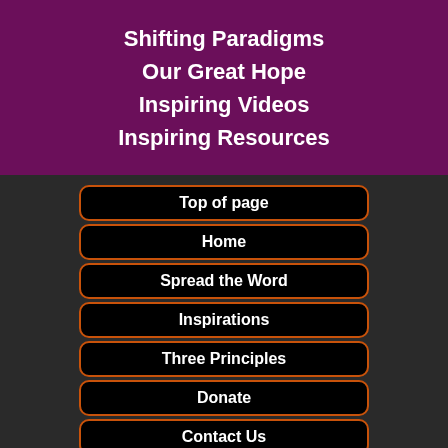Shifting Paradigms
Our Great Hope
Inspiring Videos
Inspiring Resources
Top of page
Home
Spread the Word
Inspirations
Three Principles
Donate
Contact Us